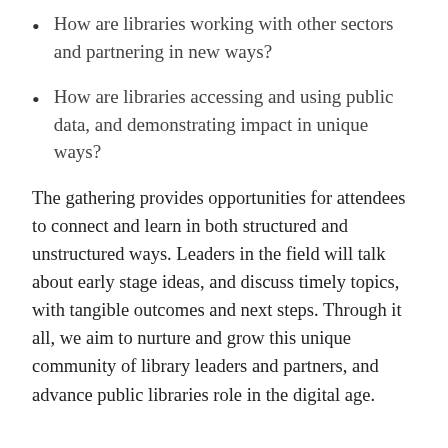How are libraries working with other sectors and partnering in new ways?
How are libraries accessing and using public data, and demonstrating impact in unique ways?
The gathering provides opportunities for attendees to connect and learn in both structured and unstructured ways. Leaders in the field will talk about early stage ideas, and discuss timely topics, with tangible outcomes and next steps. Through it all, we aim to nurture and grow this unique community of library leaders and partners, and advance public libraries role in the digital age.
ABOUT THE CONVENING FACILITATOR: